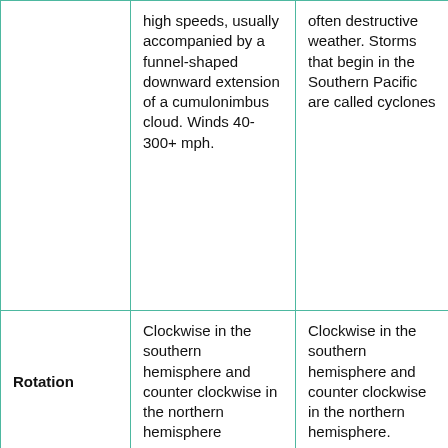|  | high speeds, usually accompanied by a funnel-shaped downward extension of a cumulonimbus cloud. Winds 40-300+ mph. | often destructive weather. Storms that begin in the Southern Pacific are called cyclones |
| Rotation | Clockwise in the southern hemisphere and counter clockwise in the northern hemisphere | Clockwise in the southern hemisphere and counter clockwise in the northern hemisphere. |
|  |  |  |